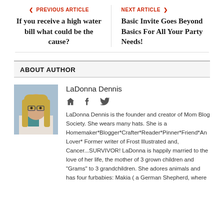< PREVIOUS ARTICLE
If you receive a high water bill what could be the cause?
NEXT ARTICLE >
Basic Invite Goes Beyond Basics For All Your Party Needs!
ABOUT AUTHOR
[Figure (photo): Headshot photo of LaDonna Dennis, a woman with long blonde hair and glasses, wearing a light-colored jacket]
LaDonna Dennis
LaDonna Dennis is the founder and creator of Mom Blog Society. She wears many hats. She is a Homemaker*Blogger*Crafter*Reader*Pinner*Friend*An Lover* Former writer of Frost Illustrated and, Cancer...SURVIVOR! LaDonna is happily married to the love of her life, the mother of 3 grown children and "Grams" to 3 grandchildren. She adores animals and has four furbabies: Makia ( a German Shepherd, where